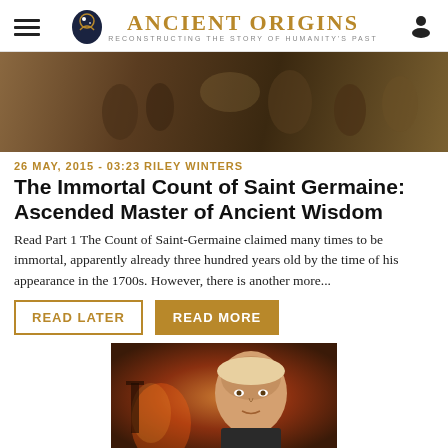Ancient Origins — Reconstructing the story of humanity's past
[Figure (photo): Hero image: a painting or historical illustration showing figures in classical/medieval setting, dark warm tones]
26 MAY, 2015 - 03:23 RILEY WINTERS
The Immortal Count of Saint Germaine: Ascended Master of Ancient Wisdom
Read Part 1 The Count of Saint-Germaine claimed many times to be immortal, apparently already three hundred years old by the time of his appearance in the 1700s. However, there is another more...
[Figure (photo): Portrait painting of an 18th-century nobleman (Count of Saint Germaine), with dramatic background showing fire/conflict scene]